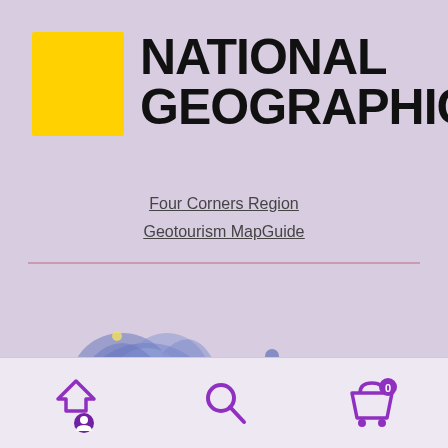[Figure (logo): National Geographic yellow rectangle border logo with black wordmark NATIONAL GEOGRAPHIC]
NATIONAL GEOGRAPHIC
Four Corners Region
Geotourism MapGuide
[Figure (illustration): Watercolor blue flower/botanical illustration with yellow dots on lavender background]
Navigation bar with upload/user icon, search icon, and shopping cart with badge 0